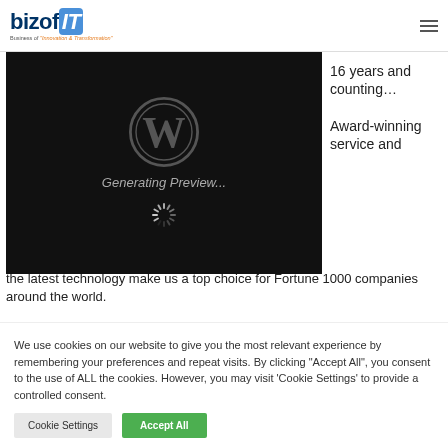[Figure (logo): bizofIT logo — business of Innovation and Transformation]
[Figure (screenshot): Dark black preview box with WordPress W logo, text 'Generating Preview...' and a loading spinner]
16 years and counting…
Award-winning service and the latest technology make us a top choice for Fortune 1000 companies around the world.
We use cookies on our website to give you the most relevant experience by remembering your preferences and repeat visits. By clicking "Accept All", you consent to the use of ALL the cookies. However, you may visit 'Cookie Settings' to provide a controlled consent.